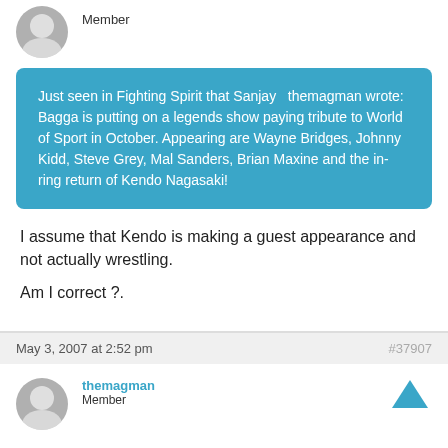Member
Just seen in Fighting Spirit that Sanjay   themagman wrote: Bagga is putting on a legends show paying tribute to World of Sport in October. Appearing are Wayne Bridges, Johnny Kidd, Steve Grey, Mal Sanders, Brian Maxine and the in-ring return of Kendo Nagasaki!
I assume that Kendo is making a guest appearance and not actually wrestling.

Am I correct ?.
May 3, 2007 at 2:52 pm   #37907
themagman
Member